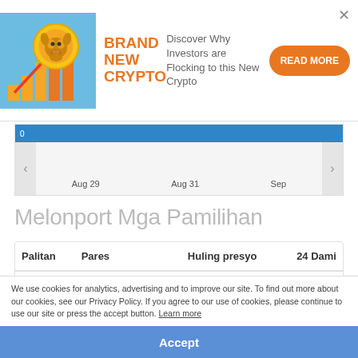[Figure (illustration): Crypto ad banner with a dog coin image, bar chart with upward arrow, orange brand text 'BRAND NEW CRYPTO', description text and orange READ MORE button]
[Figure (line-chart): Partial chart strip showing x-axis labels Aug 29, Aug 31, Sep with a blue header bar showing '0' and navigation arrows on both sides]
Melonport Mga Pamilihan
| Palitan | Pares | Huling presyo | 24 Dami |
| --- | --- | --- | --- |
| Bibox | MLN/USDT | $ 23.09 | [redacted]8M |
We use cookies for analytics, advertising and to improve our site. To find out more about our cookies, see our Privacy Policy. If you agree to our use of cookies, please continue to use our site or press the accept button. Learn more
Accept